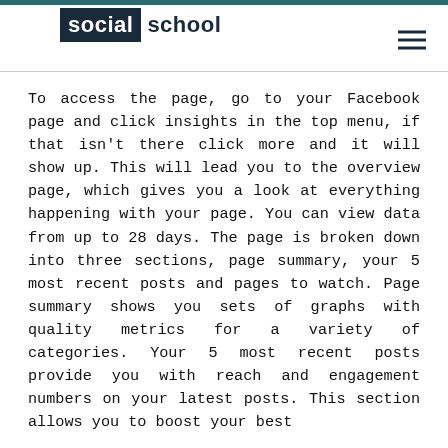social school
To access the page, go to your Facebook page and click insights in the top menu, if that isn't there click more and it will show up. This will lead you to the overview page, which gives you a look at everything happening with your page. You can view data from up to 28 days. The page is broken down into three sections, page summary, your 5 most recent posts and pages to watch. Page summary shows you sets of graphs with quality metrics for a variety of categories. Your 5 most recent posts provide you with reach and engagement numbers on your latest posts. This section allows you to boost your best